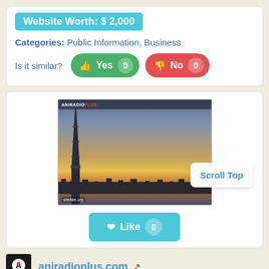Website Worth: $ 2,000
Categories: Public Information, Business
Is it similar?  Yes 0  No 0
[Figure (screenshot): Screenshot of aniradioplus.com showing Tokyo Skytree at sunset with dramatic cloudy sky, with a 'Scroll Top' button overlay and sitelike.org watermark]
Like 0
aniradioplus.com